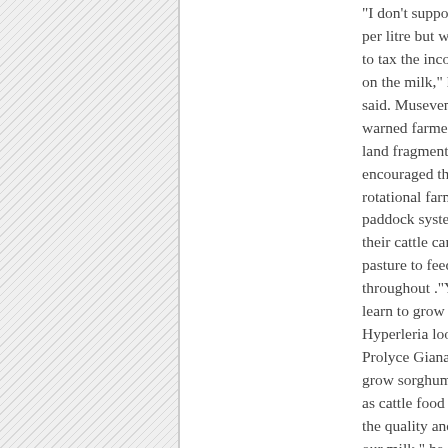[Figure (other): Hatched/diagonal-striped gray area occupying left portion of page, representing an image placeholder or cropped image area]
"I don't support [a levy] per litre but we want to tax the income on the milk," he said. Museveni warned farmers against land fragmentation and encouraged them to use rotational farming using paddock system so that their cattle can move from pasture to feed throughout ."You need to learn to grow grass like Hyperleria loofa and Prolyce Giana, and grow sorghum and maize as cattle food to improve the quality and quantity of our milk," he said. Museveni said milk production will be able to increase if people stopped